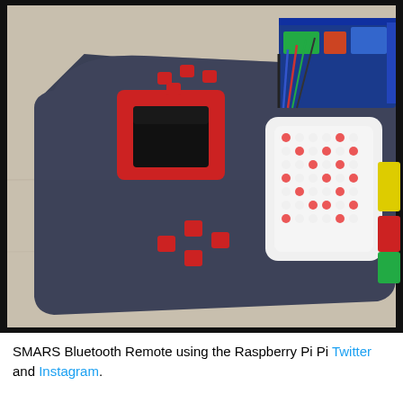[Figure (photo): A 3D-printed dark blue SMARS Bluetooth remote controller with red buttons and a red-framed screen cutout in the center-left, and a Raspberry Pi with an LED matrix display and Arduino shield on a wooden surface to the right.]
SMARS Bluetooth Remote using the Raspberry Pi Pi Twitter and Instagram.